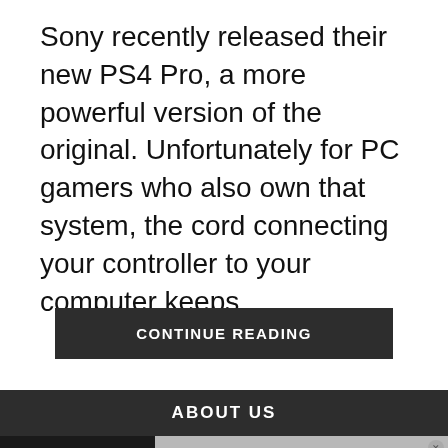Sony recently released their new PS4 Pro, a more powerful version of the original. Unfortunately for PC gamers who also own that system, the cord connecting your controller to your computer keeps...
CONTINUE READING
ABOUT US
[Figure (other): Partial image of a person, partially obscured by 'No compatible source was found for this media' message overlay]
[Figure (other): Pure Earth advertisement banner: 'We believe the global pollution crisis can be solved. In a world where pollution doesn't stop at borders, we can all be part of the solution. JOIN US. PURE EARTH']